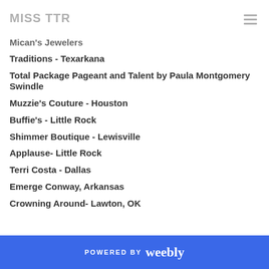MISS TTR
Mican's Jewelers
Traditions - Texarkana
Total Package Pageant and Talent by Paula Montgomery Swindle
Muzzie's Couture - Houston
Buffie's -  Little Rock
Shimmer Boutique - Lewisville
Applause- Little Rock
Terri Costa - Dallas
Emerge Conway, Arkansas
Crowning Around- Lawton, OK
POWERED BY weebly